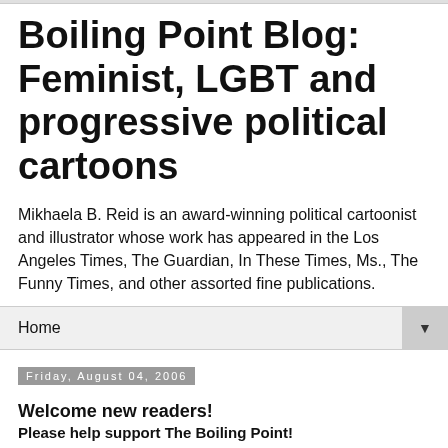Boiling Point Blog: Feminist, LGBT and progressive political cartoons
Mikhaela B. Reid is an award-winning political cartoonist and illustrator whose work has appeared in the Los Angeles Times, The Guardian, In These Times, Ms., The Funny Times, and other assorted fine publications.
Home ▼
Friday, August 04, 2006
Welcome new readers!
Please help support The Boiling Point!